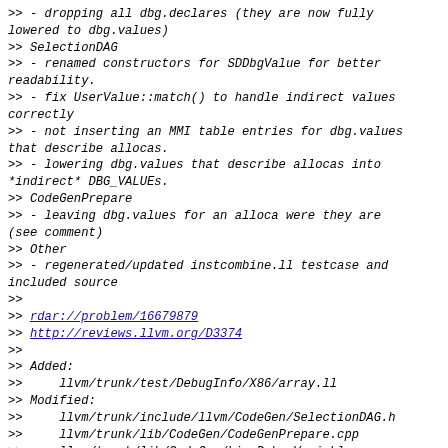>> - dropping all dbg.declares (they are now fully lowered to dbg.values)
>> SelectionDAG
>> - renamed constructors for SDDbgValue for better readability.
>> - fix UserValue::match() to handle indirect values correctly
>> - not inserting an MMI table entries for dbg.values that describe allocas.
>> - lowering dbg.values that describe allocas into *indirect* DBG_VALUEs.
>> CodeGenPrepare
>> - leaving dbg.values for an alloca were they are (see comment)
>> Other
>> - regenerated/updated instcombine.ll testcase and included source
>>
>> rdar://problem/16679879
>> http://reviews.llvm.org/D3374
>>
>> Added:
>>     llvm/trunk/test/DebugInfo/X86/array.ll
>> Modified:
>>     llvm/trunk/include/llvm/CodeGen/SelectionDAG.h
>>     llvm/trunk/lib/CodeGen/CodeGenPrepare.cpp
>>     llvm/trunk/lib/CodeGen/LiveDebugVariables.cpp
>>
llvm/trunk/lib/CodeGen/SelectionDAG/InstrEmitter.cpp
>>